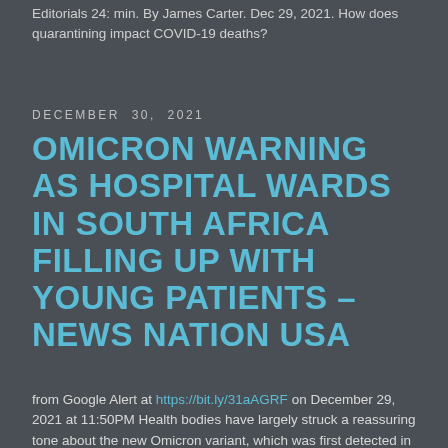Editorials 24: min. By James Carter. Dec 29, 2021. How does quarantining impact COVID-19 deaths?
DECEMBER 30, 2021
OMICRON WARNING AS HOSPITAL WARDS IN SOUTH AFRICA FILLING UP WITH YOUNG PATIENTS – NEWS NATION USA
from Google Alert at https://bit.ly/31aAGRF on December 29, 2021 at 11:50PM Health bodies have largely struck a reassuring tone about the new Omicron variant, which was first detected in